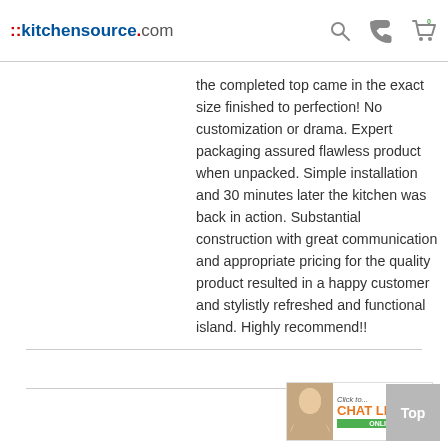::kitchensource.com
the completed top came in the exact size finished to perfection! No customization or drama. Expert packaging assured flawless product when unpacked. Simple installation and 30 minutes later the kitchen was back in action. Substantial construction with great communication and appropriate pricing for the quality product resulted in a happy customer and stylistly refreshed and functional island. Highly recommend!!
[Figure (screenshot): Chat Live online customer service banner advertisement with agent photo, 'Click to... CHAT LIVE ONLINE' text in orange and green]
Top